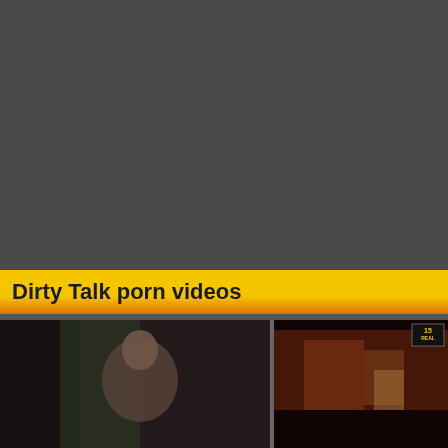[Figure (other): Dark gray background area filling the top portion of the page]
Dirty Talk porn videos
[Figure (photo): Two video thumbnails side by side: left shows a woman in a dark scene, right shows a blurry reddish scene with a small TV channel badge in the upper right corner]